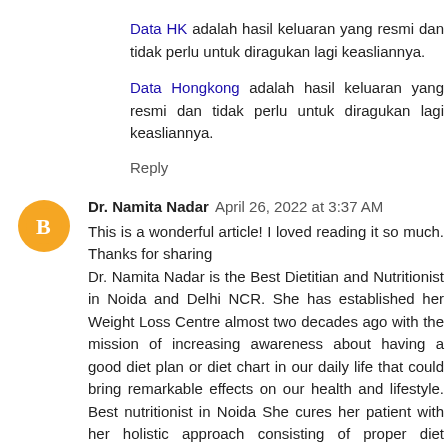Data HK adalah hasil keluaran yang resmi dan tidak perlu untuk diragukan lagi keasliannya.
Data Hongkong adalah hasil keluaran yang resmi dan tidak perlu untuk diragukan lagi keasliannya.
Reply
Dr. Namita Nadar  April 26, 2022 at 3:37 AM
This is a wonderful article! I loved reading it so much. Thanks for sharing
Dr. Namita Nadar is the Best Dietitian and Nutritionist in Noida and Delhi NCR. She has established her Weight Loss Centre almost two decades ago with the mission of increasing awareness about having a good diet plan or diet chart in our daily life that could bring remarkable effects on our health and lifestyle. Best nutritionist in Noida She cures her patient with her holistic approach consisting of proper diet planning for weight loss and weight gain, body composition analysis along with the patient's medical condition.